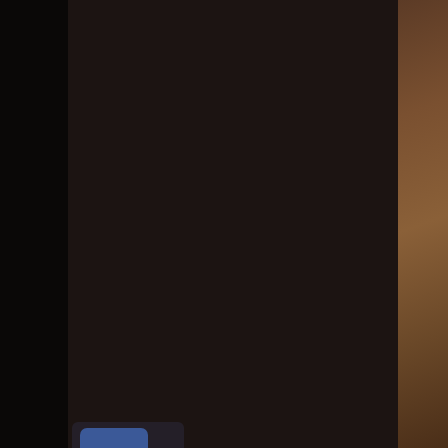[Figure (screenshot): Dark-themed webpage screenshot showing social media share buttons (Facebook, Twitter, Pinterest, Google+) on the left side, and a white content panel with Description heading and text below]
Description
Texturing a Starship Tutorial by Fireball.
Background
--------